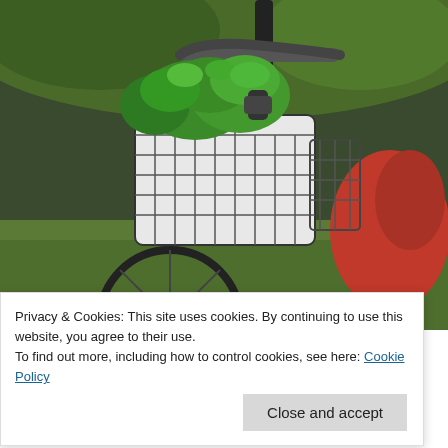[Figure (photo): Close-up photo of a bicycle with a wire basket on the front handlebars containing green leafy plants/herbs, with a blurred green garden background and a red item visible on the right side.]
Privacy & Cookies: This site uses cookies. By continuing to use this website, you agree to their use.
To find out more, including how to control cookies, see here: Cookie Policy
Close and accept
There have been some great moments of